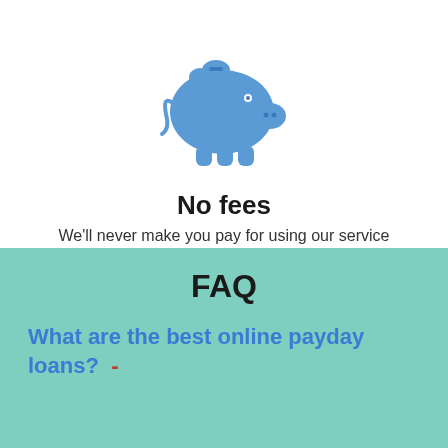[Figure (illustration): Blue piggy bank icon with a coin slot on top]
No fees
We'll never make you pay for using our service
FAQ
What are the best online payday loans?  -